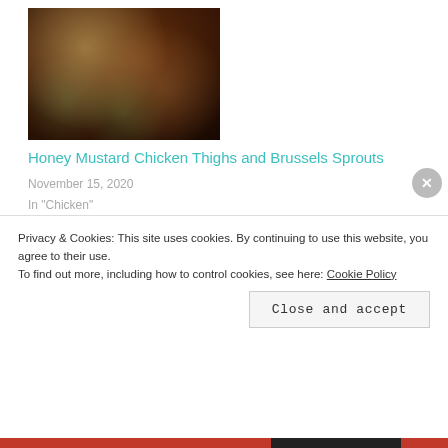[Figure (photo): Photo of Honey Mustard Chicken Thighs and Brussels Sprouts dish — golden-brown roasted chicken with caramelized Brussels sprouts on a white plate]
Honey Mustard Chicken Thighs and Brussels Sprouts
November 15, 2020
In "Chicken"
Privacy & Cookies: This site uses cookies. By continuing to use this website, you agree to their use. To find out more, including how to control cookies, see here: Cookie Policy
Close and accept